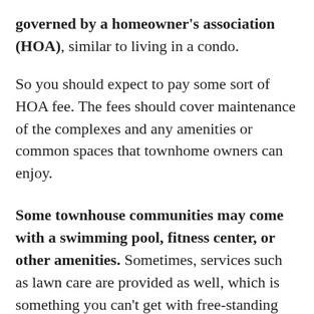governed by a homeowner's association (HOA), similar to living in a condo.
So you should expect to pay some sort of HOA fee. The fees should cover maintenance of the complexes and any amenities or common spaces that townhome owners can enjoy.
Some townhouse communities may come with a swimming pool, fitness center, or other amenities. Sometimes, services such as lawn care are provided as well, which is something you can't get with free-standing homes.